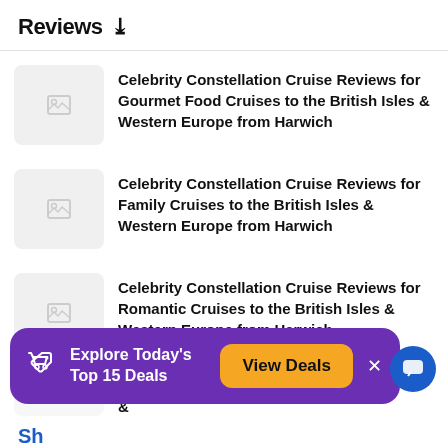Reviews ∨
Celebrity Constellation Cruise Reviews for Gourmet Food Cruises to the British Isles & Western Europe from Harwich
Celebrity Constellation Cruise Reviews for Family Cruises to the British Isles & Western Europe from Harwich
Celebrity Constellation Cruise Reviews for Romantic Cruises to the British Isles & Western Europe from Harwich
[Figure (screenshot): Purple promotional banner with tag icon, text 'Explore Today's Top 15 Deals', orange 'View Deals' button, and close X button. A blue circular chat button appears to the right.]